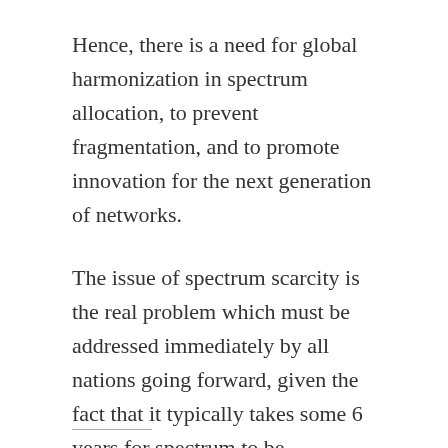Hence, there is a need for global harmonization in spectrum allocation, to prevent fragmentation, and to promote innovation for the next generation of networks.
The issue of spectrum scarcity is the real problem which must be addressed immediately by all nations going forward, given the fact that it typically takes some 6 years for spectrum to be operational, from the time it is allocated.
Find me on Google+